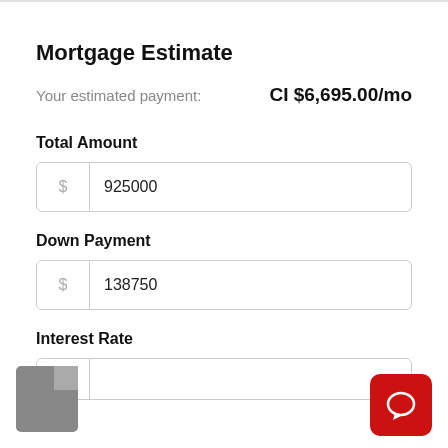Mortgage Estimate
Your estimated payment: CI $6,695.00/mo
Total Amount
$ 925000
Down Payment
$ 138750
Interest Rate